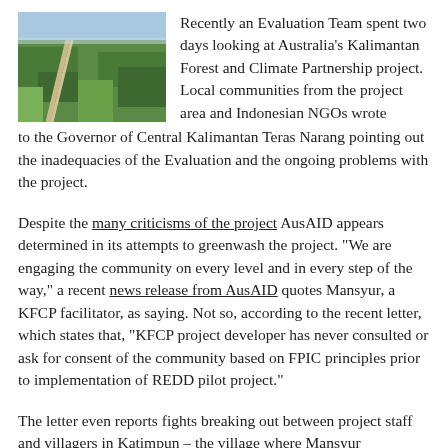[Figure (photo): Aerial photograph of Kalimantan forest landscape with a road or canal cutting through green vegetation.]
Recently an Evaluation Team spent two days looking at Australia's Kalimantan Forest and Climate Partnership project. Local communities from the project area and Indonesian NGOs wrote to the Governor of Central Kalimantan Teras Narang pointing out the inadequacies of the Evaluation and the ongoing problems with the project.
Despite the many criticisms of the project AusAID appears determined in its attempts to greenwash the project. "We are engaging the community on every level and in every step of the way," a recent news release from AusAID quotes Mansyur, a KFCP facilitator, as saying. Not so, according to the recent letter, which states that, "KFCP project developer has never consulted or ask for consent of the community based on FPIC principles prior to implementation of REDD pilot project."
The letter even reports fights breaking out between project staff and villagers in Katimpun – the village where Mansyur